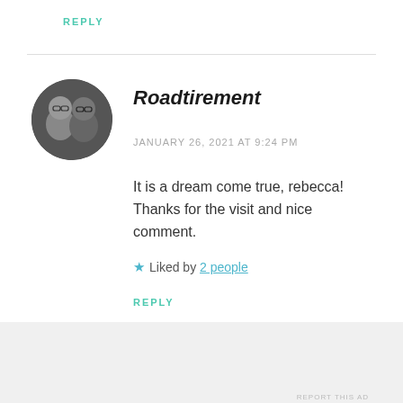REPLY
[Figure (photo): Circular avatar photo of two people (a couple) wearing glasses]
Roadtirement
JANUARY 26, 2021 AT 9:24 PM
It is a dream come true, rebecca! Thanks for the visit and nice comment.
★ Liked by 2 people
REPLY
Advertisements
Build a writing habit. Post on the go.
GET THE APP